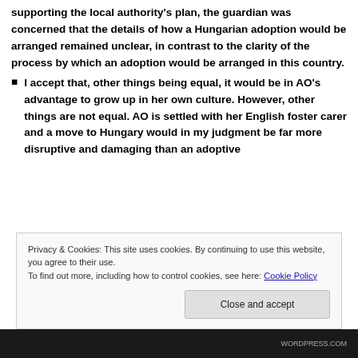supporting the local authority's plan, the guardian was concerned that the details of how a Hungarian adoption would be arranged remained unclear, in contrast to the clarity of the process by which an adoption would be arranged in this country.
I accept that, other things being equal, it would be in AO's advantage to grow up in her own culture. However, other things are not equal. AO is settled with her English foster carer and a move to Hungary would in my judgment be far more disruptive and damaging than an adoptive
Privacy & Cookies: This site uses cookies. By continuing to use this website, you agree to their use. To find out more, including how to control cookies, see here: Cookie Policy